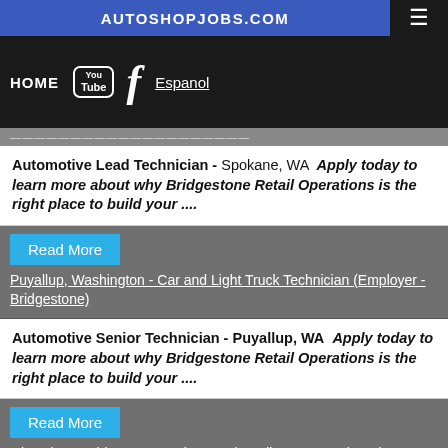AUTOSHOPJOBS.COM  HOME  Espanol
(partial/truncated job listing bar)
Automotive Lead Technician - Spokane, WA  Apply today to learn more about why Bridgestone Retail Operations is the right place to build your ....
Read More  Puyallup, Washington - Car and Light Truck Technician (Employer - Bridgestone)
Automotive Senior Technician - Puyallup, WA  Apply today to learn more about why Bridgestone Retail Operations is the right place to build your ....
Read More  Olympia, Washington - Service Mgr./Retail Store Mgr. (Employer - Bridgestone)
Automotive Service Manager - Olympia, WA  Apply today to learn more about why Bridgestone Retail Operations is the right place to build your career!